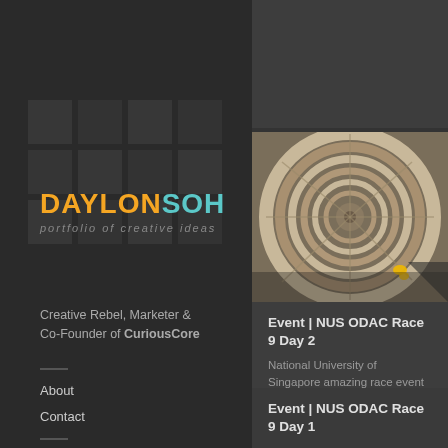DAYLONSOH — portfolio of creative ideas
Creative Rebel, Marketer & Co-Founder of CuriousCore
About
Contact
Showcase
All
Art Direction & Design
Copywriting
[Figure (photo): Aerial view of a spiral staircase with a person in yellow visible at the bottom]
Event | NUS ODAC Race 9 Day 2
National University of Singapore amazing race event photography.
Event | NUS ODAC Race 9 Day 1